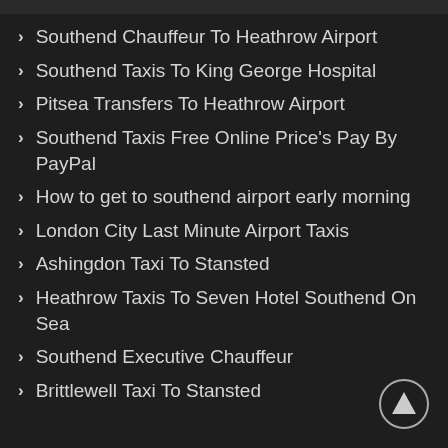Southend Chauffeur To Heathrow Airport
Southend Taxis To King George Hospital
Pitsea Transfers To Heathrow Airport
Southend Taxis Free Online Price's Pay By PayPal
How to get to southend airport early morning
London City Last Minute Airport Taxis
Ashingdon Taxi To Stansted
Heathrow Taxis To Seven Hotel Southend On Sea
Southend Executive Chauffeur
Brittlewell Taxi To Stansted